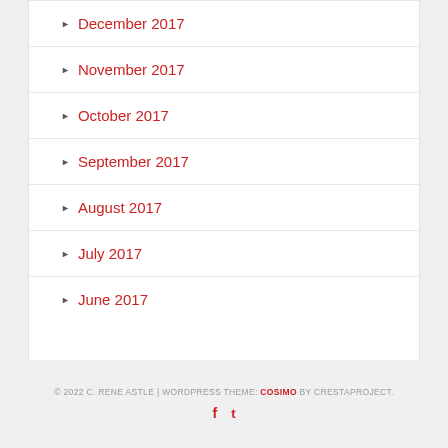December 2017
November 2017
October 2017
September 2017
August 2017
July 2017
June 2017
© 2022 C. RENE ASTLE | WORDPRESS THEME: COSIMO BY CRESTAPROJECT.